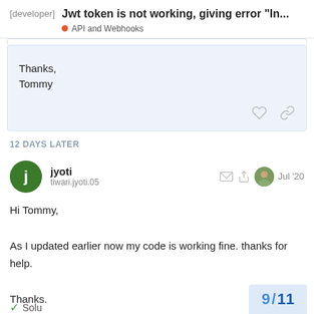[developer] Jwt token is not working, giving error "In... — API and Webhooks
Thanks,
Tommy
12 DAYS LATER
jyoti
tiwari.jyoti.05
Jul '20
Hi Tommy,

As I updated earlier now my code is working fine. thanks for help.

Thanks.
✓ Solu... 9/11